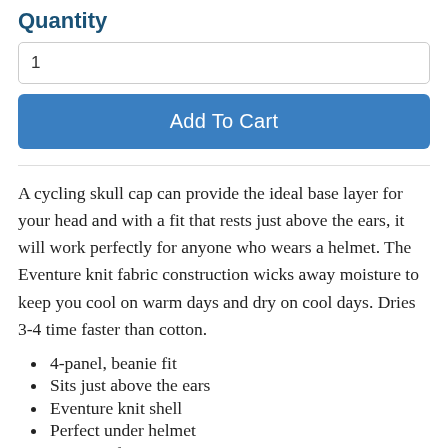Quantity
1
Add To Cart
A cycling skull cap can provide the ideal base layer for your head and with a fit that rests just above the ears, it will work perfectly for anyone who wears a helmet. The Eventure knit fabric construction wicks away moisture to keep you cool on warm days and dry on cool days. Dries 3-4 time faster than cotton.
4-panel, beanie fit
Sits just above the ears
Eventure knit shell
Perfect under helmet
One size fits most
Machine Washable; air dry
Does not shrink